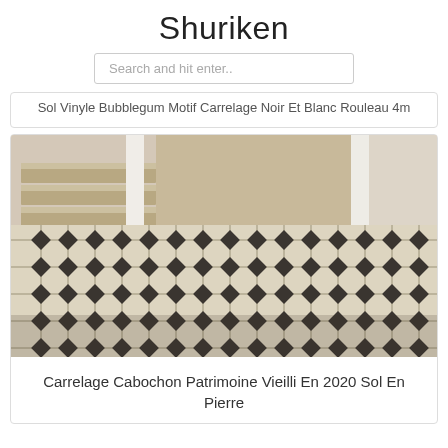Shuriken
Search and hit enter..
Sol Vinyle Bubblegum Motif Carrelage Noir Et Blanc Rouleau 4m
[Figure (photo): Photo of a tiled floor with a classic octagonal white/beige tile pattern with small black diamond accent tiles at intersections, with wooden stairs visible in the background. An entryway or hallway setting.]
Carrelage Cabochon Patrimoine Vieilli En 2020 Sol En Pierre